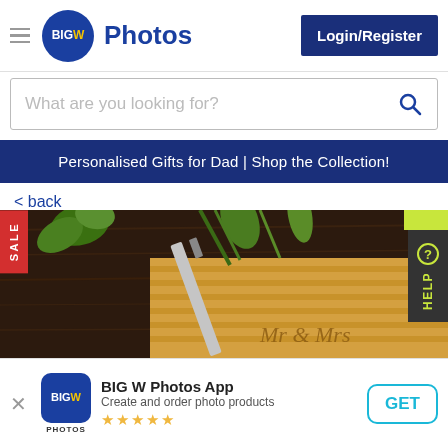[Figure (screenshot): BIG W Photos website header with hamburger menu, BIG W logo circle, Photos text, and Login/Register dark blue button]
[Figure (screenshot): Search bar with placeholder text 'What are you looking for?' and blue search icon]
Personalised Gifts for Dad | Shop the Collection!
< back
[Figure (photo): Product image of a personalised wooden cutting board with 'Mr & Mrs' engraving, vegetables and chili peppers on dark wood background. Red SALE badge on left, green and dark HELP tab on right.]
[Figure (screenshot): App download banner: BIG W Photos App logo, title 'BIG W Photos App', subtitle 'Create and order photo products', star rating, and GET button]